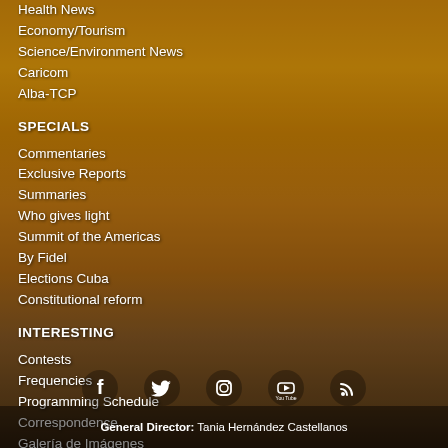Health News
Economy/Tourism
Science/Environment News
Caricom
Alba-TCP
SPECIALS
Commentaries
Exclusive Reports
Summaries
Who gives light
Summit of the Americas
By Fidel
Elections Cuba
Constitutional reform
INTERESTING
Contests
Frequencies
Programming Schedule
Correspondence
Galería de Imágenes
Kaleidoscope
[Figure (infographic): Social media icons: Facebook, Twitter, Instagram, YouTube, RSS]
General Director: Tania Hernández Castellanos